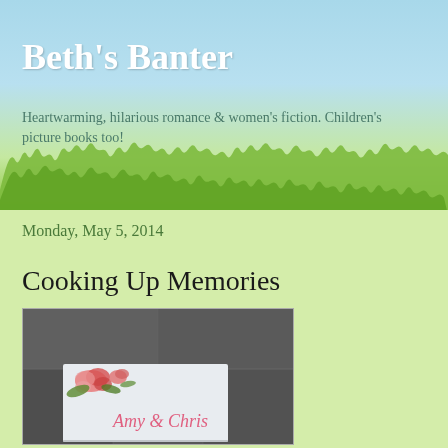Beth's Banter
Heartwarming, hilarious romance & women's fiction. Children's picture books too!
Monday, May 5, 2014
Cooking Up Memories
[Figure (photo): A photo of a book or recipe card with floral rose design on the cover, inscribed with 'Amy & Chris' in pink cursive lettering, placed on a gray fabric background.]